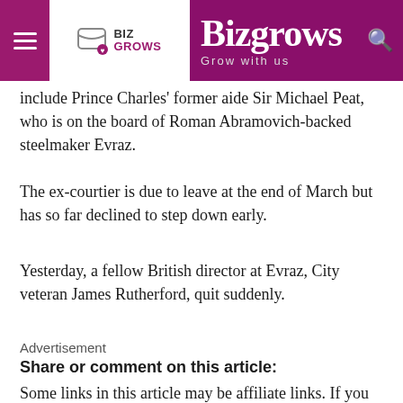Bizgrows — Grow with us
include Prince Charles' former aide Sir Michael Peat, who is on the board of Roman Abramovich-backed steelmaker Evraz.
The ex-courtier is due to leave at the end of March but has so far declined to step down early.
Yesterday, a fellow British director at Evraz, City veteran James Rutherford, quit suddenly.
Advertisement
Share or comment on this article:
Some links in this article may be affiliate links. If you